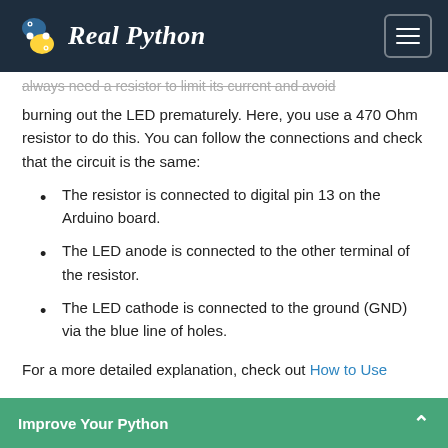Real Python
always need a resistor to limit its current and avoid burning out the LED prematurely. Here, you use a 470 Ohm resistor to do this. You can follow the connections and check that the circuit is the same:
The resistor is connected to digital pin 13 on the Arduino board.
The LED anode is connected to the other terminal of the resistor.
The LED cathode is connected to the ground (GND) via the blue line of holes.
For a more detailed explanation, check out How to Use a Breadboard
Improve Your Python